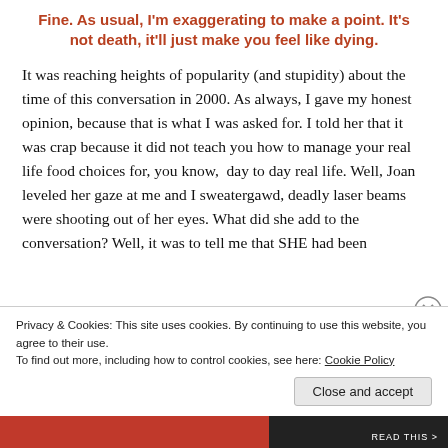Fine. As usual, I'm exaggerating to make a point. It's not death, it'll just make you feel like dying.
It was reaching heights of popularity (and stupidity) about the time of this conversation in 2000. As always, I gave my honest opinion, because that is what I was asked for. I told her that it was crap because it did not teach you how to manage your real life food choices for, you know,  day to day real life. Well, Joan leveled her gaze at me and I sweatergawd, deadly laser beams were shooting out of her eyes. What did she add to the conversation? Well, it was to tell me that SHE had been
Advertisements
Privacy & Cookies: This site uses cookies. By continuing to use this website, you agree to their use.
To find out more, including how to control cookies, see here: Cookie Policy
Close and accept